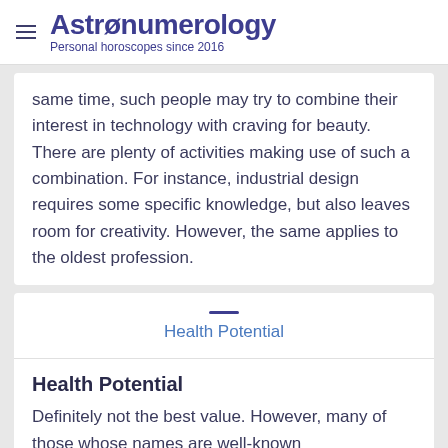Astronumerology – Personal horoscopes since 2016
same time, such people may try to combine their interest in technology with craving for beauty. There are plenty of activities making use of such a combination. For instance, industrial design requires some specific knowledge, but also leaves room for creativity. However, the same applies to the oldest profession.
Health Potential
Health Potential
Definitely not the best value. However, many of those whose names are well-known